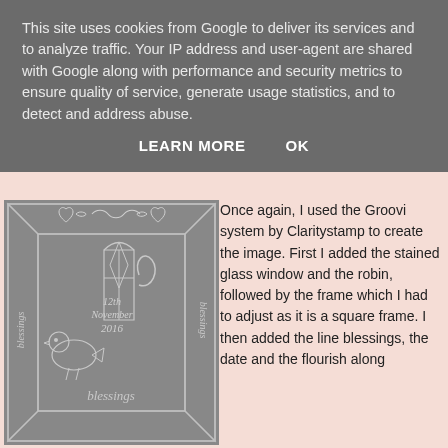This site uses cookies from Google to deliver its services and to analyze traffic. Your IP address and user-agent are shared with Google along with performance and security metrics to ensure quality of service, generate usage statistics, and to detect and address abuse.
LEARN MORE   OK
[Figure (illustration): A grey square Groovi plate featuring a stained glass window design with a robin bird, decorative hearts and scrolls along the top border, the text '12th November 2016' in the center, the word 'blessings' written along the left side, right side, and bottom of the frame.]
Once again, I used the Groovi system by Claritystamp to create the image.  First I added the stained glass window and the robin, followed by the frame which I had to adjust as it is a square frame.  I then added the line blessings, the date and the flourish along